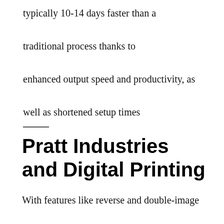typically 10-14 days faster than a traditional process thanks to enhanced output speed and productivity, as well as shortened setup times
Pratt Industries and Digital Printing
With features like reverse and double-image reverse printing, the capability to print on any surface under 2” and multi-layered printing